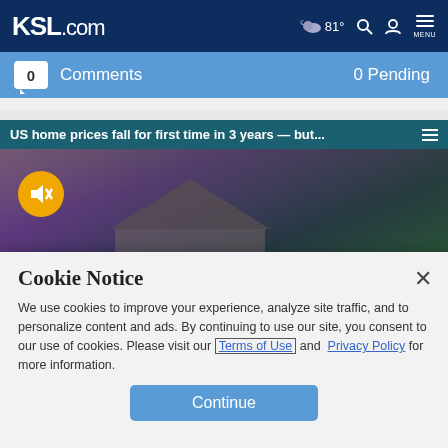KSL.com  ☁ 81°  🔍  👤  MENU
0  Comments    0 Pending
[Figure (screenshot): Video thumbnail showing US home prices news story with house in background and mute button overlay. Headline: US home prices fall for first time in 3 years — but...]
Cookie Notice
We use cookies to improve your experience, analyze site traffic, and to personalize content and ads. By continuing to use our site, you consent to our use of cookies. Please visit our Terms of Use and  Privacy Policy for more information.
Continue